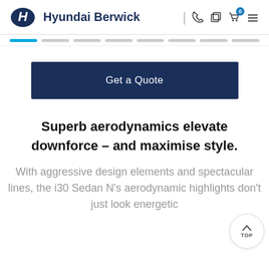Hyundai Berwick
[Figure (screenshot): Navigation progress bar with 8 segments, first segment highlighted in blue]
Get a Quote
Superb aerodynamics elevate downforce – and maximise style.
With aggressive design elements and spectacular lines, the i30 Sedan N's aerodynamic highlights don't just look energetic